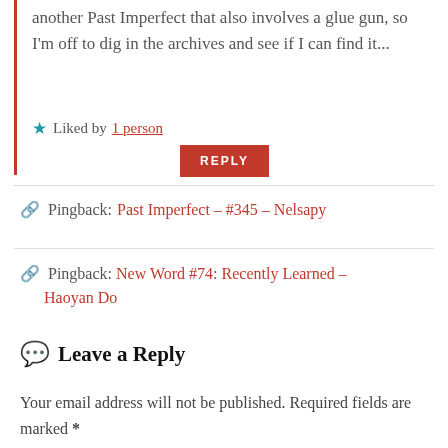another Past Imperfect that also involves a glue gun, so I'm off to dig in the archives and see if I can find it...
Liked by 1 person
REPLY
Pingback: Past Imperfect – #345 – Nelsapy
Pingback: New Word #74: Recently Learned – Haoyan Do
Leave a Reply
Your email address will not be published. Required fields are marked *